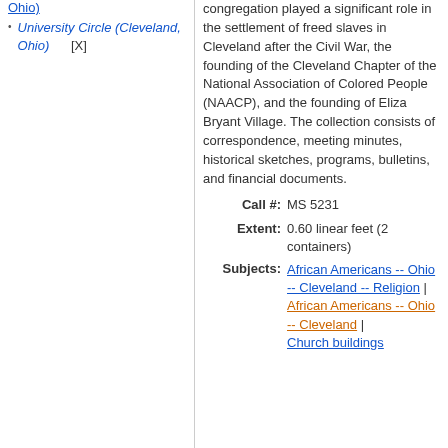Ohio)
University Circle (Cleveland, Ohio)
congregation played a significant role in the settlement of freed slaves in Cleveland after the Civil War, the founding of the Cleveland Chapter of the National Association of Colored People (NAACP), and the founding of Eliza Bryant Village. The collection consists of correspondence, meeting minutes, historical sketches, programs, bulletins, and financial documents.
Call #: MS 5231
Extent: 0.60 linear feet (2 containers)
Subjects: African Americans -- Ohio -- Cleveland -- Religion | African Americans -- Ohio -- Cleveland | Church buildings